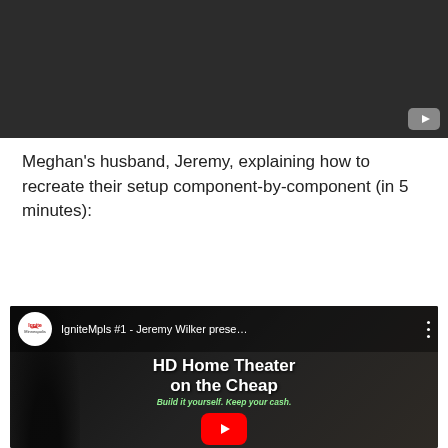[Figure (screenshot): YouTube video thumbnail showing a dark background with a play button icon in the bottom right corner]
Meghan's husband, Jeremy, explaining how to recreate their setup component-by-component (in 5 minutes):
[Figure (screenshot): Embedded YouTube video thumbnail for 'IgniteMpls #1 - Jeremy Wilker prese...' showing a presentation slide with text 'HD Home Theater on the Cheap - Build it yourself. Keep your cash.' with a red YouTube play button overlay and Ignite Minneapolis logo]